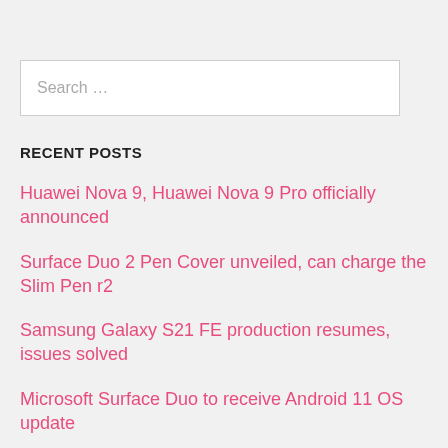[Figure (screenshot): Search input box with placeholder text 'Search ...']
RECENT POSTS
Huawei Nova 9, Huawei Nova 9 Pro officially announced
Surface Duo 2 Pen Cover unveiled, can charge the Slim Pen r2
Samsung Galaxy S21 FE production resumes, issues solved
Microsoft Surface Duo to receive Android 11 OS update
HONOR Ultra Fusion Quad-Camera Photography Technology introduced